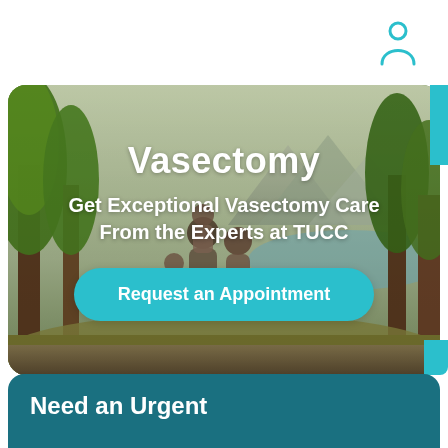[Figure (illustration): User/person account icon in teal color, top right corner]
[Figure (photo): Hero banner image showing a family outdoors in a forested mountain setting with a lake. Contains title 'Vasectomy', subtitle 'Get Exceptional Vasectomy Care From the Experts at TUCC', and a teal 'Request an Appointment' button.]
Vasectomy
Get Exceptional Vasectomy Care From the Experts at TUCC
Request an Appointment
Need an Urgent